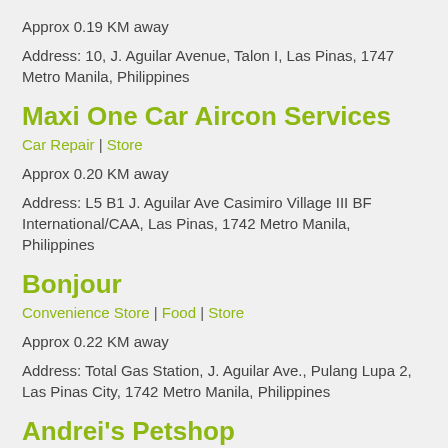Approx 0.19 KM away
Address: 10, J. Aguilar Avenue, Talon I, Las Pinas, 1747 Metro Manila, Philippines
Maxi One Car Aircon Services
Car Repair | Store
Approx 0.20 KM away
Address: L5 B1 J. Aguilar Ave Casimiro Village III BF International/CAA, Las Pinas, 1742 Metro Manila, Philippines
Bonjour
Convenience Store | Food | Store
Approx 0.22 KM away
Address: Total Gas Station, J. Aguilar Ave., Pulang Lupa 2, Las Pinas City, 1742 Metro Manila, Philippines
Andrei's Petshop